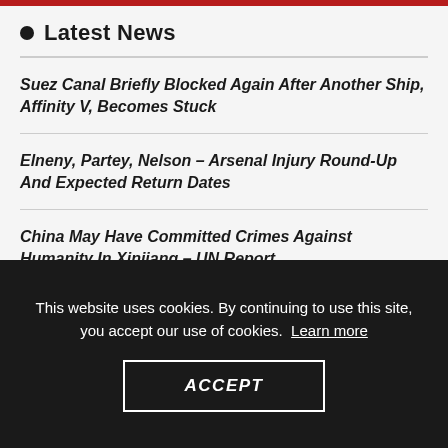Latest News
Suez Canal Briefly Blocked Again After Another Ship, Affinity V, Becomes Stuck
Elneny, Partey, Nelson – Arsenal Injury Round-Up And Expected Return Dates
China May Have Committed Crimes Against Humanity In Xinjiang – UN Report
UN Report Cites Alleged 'Patterns Of Abuse' In China's Treatment Of Uyghur Minority
This website uses cookies. By continuing to use this site, you accept our use of cookies. Learn more
ACCEPT